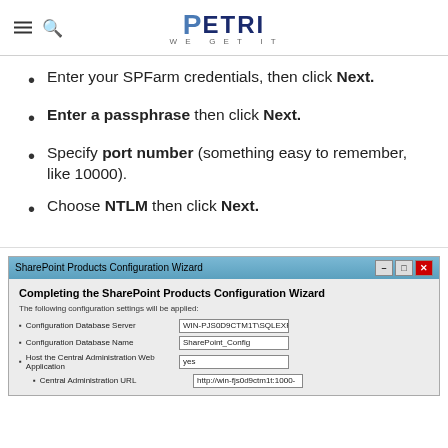PETRI — WE GET IT
Enter your SPFarm credentials, then click Next.
Enter a passphrase then click Next.
Specify port number (something easy to remember, like 10000).
Choose NTLM then click Next.
[Figure (screenshot): SharePoint Products Configuration Wizard dialog showing fields: Configuration Database Server (WIN-PJS0D9CTM1T\SQLEXPF), Configuration Database Name (SharePoint_Config), Host the Central Administration Web Application (yes), Central Administration URL (http://win-fjs0d9ctm1t:1000-)]